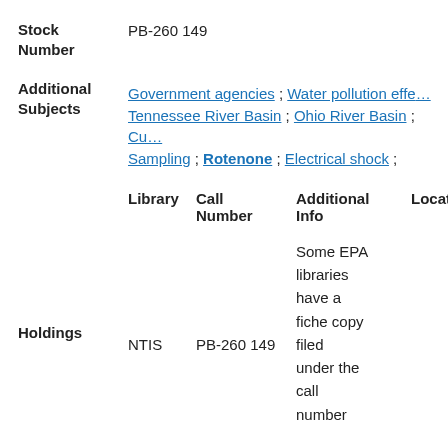Stock Number: PB-260 149
Additional Subjects: Government agencies ; Water pollution effects ; Tennessee River Basin ; Ohio River Basin ; Cu ; Sampling ; Rotenone ; Electrical shock ;
| Library | Call Number | Additional Info | Location |
| --- | --- | --- | --- |
| NTIS | PB-260 149 | Some EPA libraries have a fiche copy filed under the call number |  |